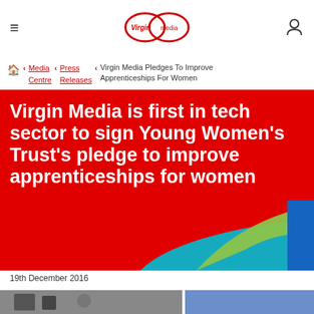≡  [Virgin Media logo]  [Account icon]
🏠 < Media Centre < Press Releases < Virgin Media Pledges To Improve Apprenticeships For Women
Virgin Media is first in tech sector to sign Young Women's Trust's pledge to improve apprenticeships for women
[Figure (illustration): Decorative abstract swoosh shapes in teal/green and blue on red background]
19th December 2016
[Figure (photo): Partial photo strip showing people, cut off at bottom of page]